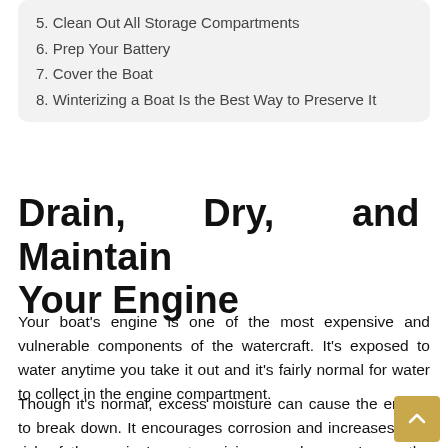5. Clean Out All Storage Compartments
6. Prep Your Battery
7. Cover the Boat
8. Winterizing a Boat Is the Best Way to Preserve It
Drain, Dry, and Maintain Your Engine
Your boat’s engine is one of the most expensive and vulnerable components of the watercraft. It’s exposed to water anytime you take it out and it’s fairly normal for water to collect in the engine compartment.
Though it’s normal, excess moisture can cause the engine to break down. It encourages corrosion and increases your risk of the engine’s parts seizing up when you’re on the water.
The best thing you can do about it...